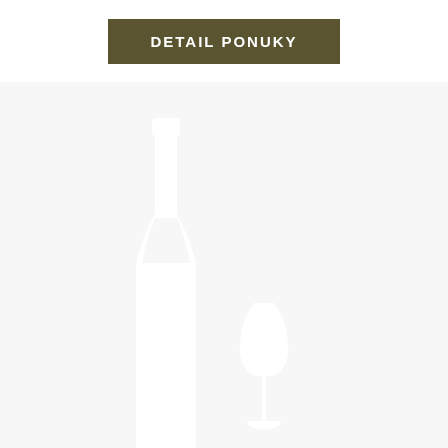DETAIL PONUKY
[Figure (illustration): White silhouette of a wine bottle and a wine glass on a light gray background]